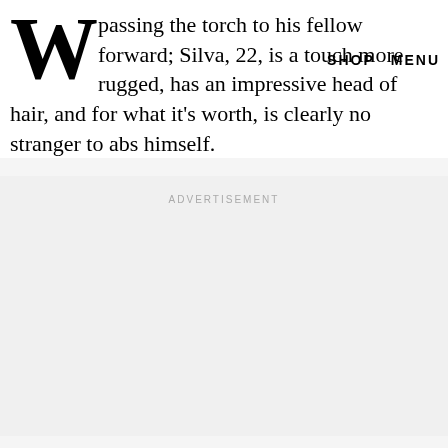SHOP   MENU
passing the torch to his fellow forward; Silva, 22, is a touch more rugged, has an impressive head of hair, and for what it's worth, is clearly no stranger to abs himself.
ADVERTISEMENT